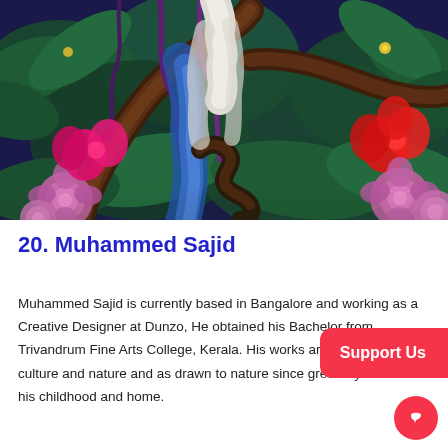[Figure (illustration): Digital artwork depicting a lush jungle scene with pink and red hibiscus flowers, large green leaves, twisted dark tree branches, flowing blue water or fabric, and a figure in white clothing visible in the upper center. The overall palette is rich blues, greens, pinks and purples.]
20. Muhammed Sajid
Muhammed Sajid is currently based in Bangalore and working as a Creative Designer at Dunzo, He obtained his Bachelor from Trivandrum Fine Arts College, Kerala. His works are inspired by culture and nature and as drawn to nature since greenery is tied to his childhood and home.